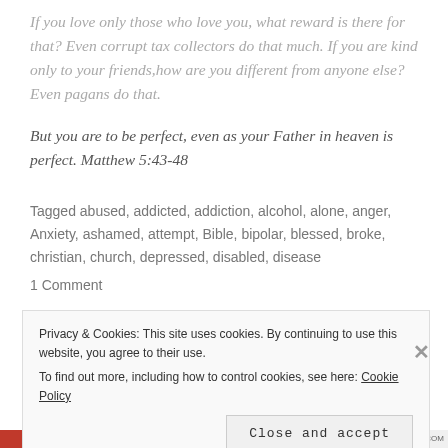If you love only those who love you, what reward is there for that? Even corrupt tax collectors do that much. If you are kind only to your friends, how are you different from anyone else? Even pagans do that.
But you are to be perfect, even as your Father in heaven is perfect. Matthew 5:43-48
Tagged abused, addicted, addiction, alcohol, alone, anger, Anxiety, ashamed, attempt, Bible, bipolar, blessed, broke, christian, church, depressed, disabled, disease
1 Comment
Privacy & Cookies: This site uses cookies. By continuing to use this website, you agree to their use. To find out more, including how to control cookies, see here: Cookie Policy
Close and accept